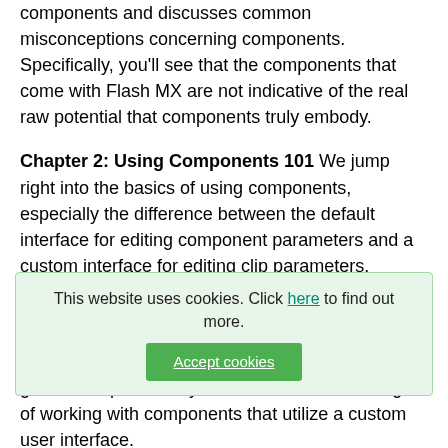components and discusses common misconceptions concerning components. Specifically, you'll see that the components that come with Flash MX are not indicative of the real raw potential that components truly embody.
Chapter 2: Using Components 101 We jump right into the basics of using components, especially the difference between the default interface for editing component parameters and a custom interface for editing clip parameters.
Chapter 3: Using Components with Custom User Interfaces Find out how to customize components and how you work with components in general. In particular you will learn the advantages of working with components that utilize a custom user interface.
Ch... you through... components that come on the companion (CD). You'll